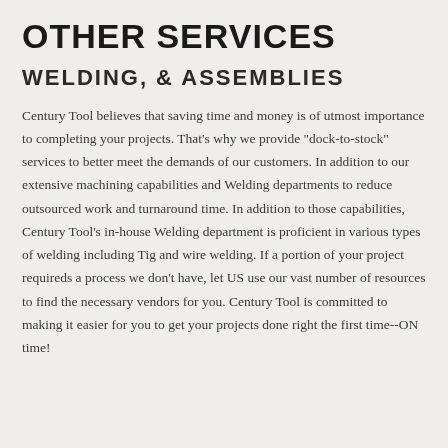OTHER SERVICES
WELDING, & ASSEMBLIES
Century Tool believes that saving time and money is of utmost importance to completing your projects. That's why we provide "dock-to-stock" services to better meet the demands of our customers. In addition to our extensive machining capabilities and Welding departments to reduce outsourced work and turnaround time. In addition to those capabilities, Century Tool's in-house Welding department is proficient in various types of welding including Tig and wire welding. If a portion of your project requireds a process we don't have, let US use our vast number of resources to find the necessary vendors for you. Century Tool is committed to making it easier for you to get your projects done right the first time--ON time!